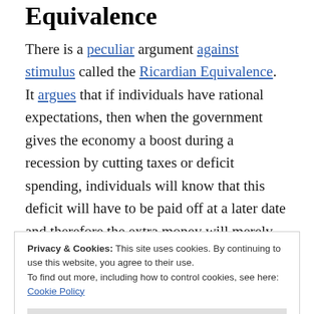Equivalence
There is a peculiar argument against stimulus called the Ricardian Equivalence. It argues that if individuals have rational expectations, then when the government gives the economy a boost during a recession by cutting taxes or deficit spending, individuals will know that this deficit will have to be paid off at a later date and therefore the extra money will merely increase savings. This increase in saving will
Privacy & Cookies: This site uses cookies. By continuing to use this website, you agree to their use.
To find out more, including how to control cookies, see here:
Cookie Policy

Close and accept
Trichet and current head of the IMF, Christine